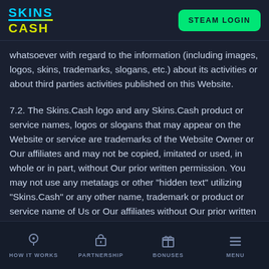[Figure (logo): Skins.Cash logo with cyan SKINS text and yellow CASH text]
[Figure (other): STEAM LOGIN green button]
whatsoever with regard to the information (including images, logos, skins, trademarks, slogans, etc.) about its activities or about third parties activities published on this Website.
7.2. The Skins.Cash logo and any Skins.Cash product or service names, logos or slogans that may appear on the Website or service are trademarks of the Website Owner or Our affiliates and may not be copied, imitated or used, in whole or in part, without Our prior written permission. You may not use any metatags or other "hidden text" utilizing "Skins.Cash" or any other name, trademark or product or service name of Us or Our affiliates without Our prior written permission. In addition, the look and feel of the Website and
HOW IT WORKS   PARTNERSHIP   BONUSES   MENU